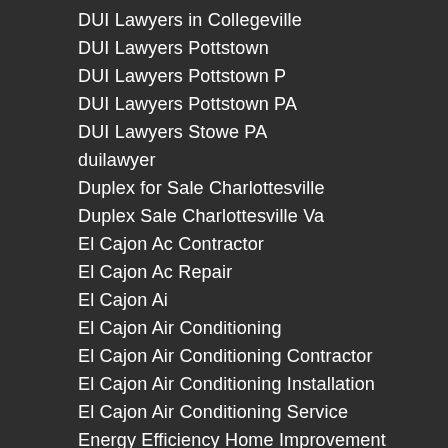DUI Lawyers in Collegeville
DUI Lawyers Pottstown
DUI Lawyers Pottstown P
DUI Lawyers Pottstown PA
DUI Lawyers Stowe PA
duilawyer
Duplex for Sale Charlottesville
Duplex Sale Charlottesville Va
El Cajon Ac Contractor
El Cajon Ac Repair
El Cajon Ai
El Cajon Air Conditioning
El Cajon Air Conditioning Contractor
El Cajon Air Conditioning Installation
El Cajon Air Conditioning Service
Energy Efficiency Home Improvement Financing
Energy efficient home improvement financing